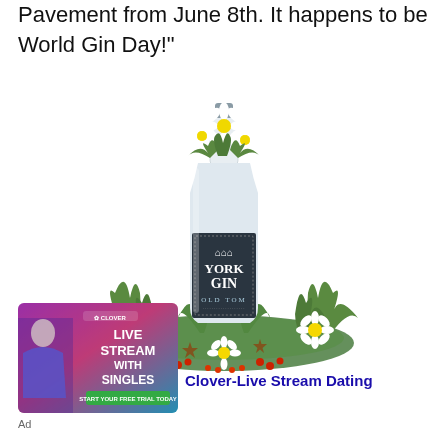Pavement from June 8th. It happens to be World Gin Day!"
[Figure (photo): York Gin Old Tom bottle decorated with white flowers, green foliage, star anise, and red berries arranged at the base, against a white background]
[Figure (photo): Advertisement for Clover-Live Stream Dating app showing a woman in blue with text LIVE STREAM WITH SINGLES]
Clover-Live Stream Dating
Ad